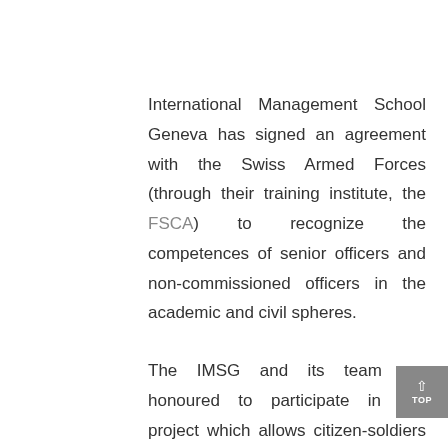International Management School Geneva has signed an agreement with the Swiss Armed Forces (through their training institute, the FSCA) to recognize the competences of senior officers and non-commissioned officers in the academic and civil spheres.
The IMSG and its team are honoured to participate in this project which allows citizen-soldiers to make their experiences valued within an academic cursus.